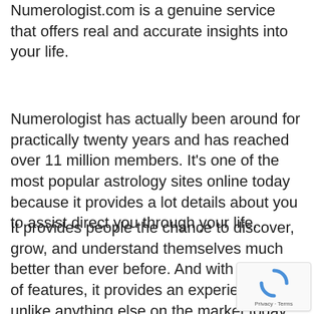Numerologist.com is a genuine service that offers real and accurate insights into your life.
Numerologist has actually been around for practically twenty years and has reached over 11 million members. It's one of the most popular astrology sites online today because it provides a lot details about you to assist direct you through your life.
It provides people the chance to discover, grow, and understand themselves much better than ever before. And with its range of features, it provides an experience unlike anything else on the market today.
[Figure (logo): reCAPTCHA badge with rotating arrows logo and Privacy · Terms text]